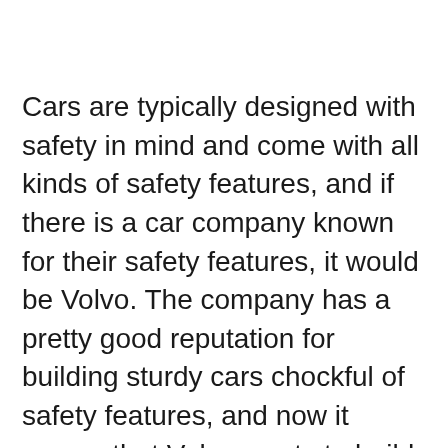Cars are typically designed with safety in mind and come with all kinds of safety features, and if there is a car company known for their safety features, it would be Volvo. The company has a pretty good reputation for building sturdy cars chockful of safety features, and now it seems that Volvo wants to build on it further.